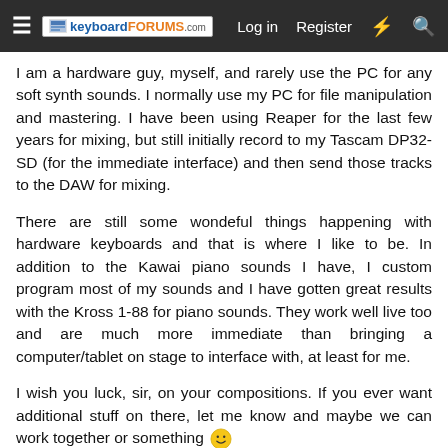keyboardforums.com  Log in  Register
I am a hardware guy, myself, and rarely use the PC for any soft synth sounds. I normally use my PC for file manipulation and mastering. I have been using Reaper for the last few years for mixing, but still initially record to my Tascam DP32-SD (for the immediate interface) and then send those tracks to the DAW for mixing.
There are still some wondeful things happening with hardware keyboards and that is where I like to be. In addition to the Kawai piano sounds I have, I custom program most of my sounds and I have gotten great results with the Kross 1-88 for piano sounds. They work well live too and are much more immediate than bringing a computer/tablet on stage to interface with, at least for me.
I wish you luck, sir, on your compositions. If you ever want additional stuff on there, let me know and maybe we can work together or something 🙂